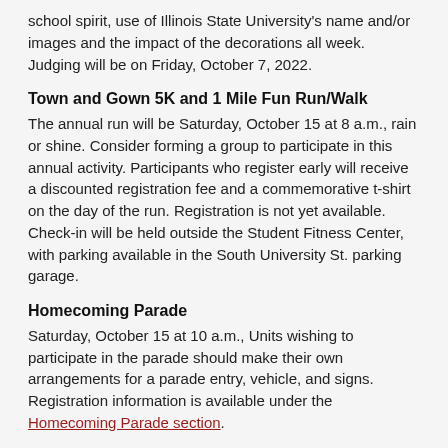school spirit, use of Illinois State University's name and/or images and the impact of the decorations all week. Judging will be on Friday, October 7, 2022.
Town and Gown 5K and 1 Mile Fun Run/Walk
The annual run will be Saturday, October 15 at 8 a.m., rain or shine. Consider forming a group to participate in this annual activity. Participants who register early will receive a discounted registration fee and a commemorative t-shirt on the day of the run. Registration is not yet available. Check-in will be held outside the Student Fitness Center, with parking available in the South University St. parking garage.
Homecoming Parade
Saturday, October 15 at 10 a.m., Units wishing to participate in the parade should make their own arrangements for a parade entry, vehicle, and signs. Registration information is available under the Homecoming Parade section.
Tailgate Tent
If you plan to host a tailgate event in the Redbird Tent Zone, be sure to read all of the tailgating information provided at GoRedbirds.com . The space and tent packages are reserved through Redbird Athletics, however, we encourage you to forward details of your event to Jamie Sommer at (more, cut off)